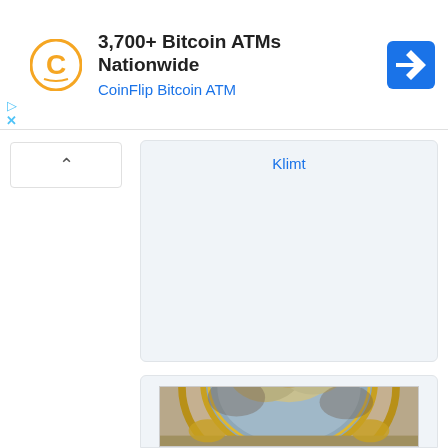[Figure (screenshot): Ad banner: CoinFlip Bitcoin ATM logo (orange C), text '3,700+ Bitcoin ATMs Nationwide', subtitle 'CoinFlip Bitcoin ATM' in blue, blue diamond navigation icon on right. Play and X icons on left side.]
Klimt
[Figure (photo): Photograph of an ornate baroque ceiling fresco showing painted figures in clouds within a domed oval frame, surrounded by gilded architectural ornament and molding.]